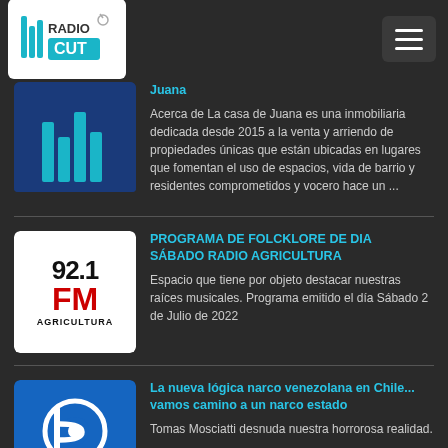[Figure (logo): RadioCut logo in white box at top left]
[Figure (logo): Hamburger menu button at top right]
Juana
Acerca de La casa de Juana es una inmobiliaria dedicada desde 2015 a la venta y arriendo de propiedades únicas que están ubicadas en lugares que fomentan el uso de espacios, vida de barrio y residentes comprometidos y vocero hace un ...
[Figure (logo): Radio Agricultura 92.1 FM logo]
PROGRAMA DE FOLCKLORE DE DIA SÁBADO RADIO AGRICULTURA
Espacio que tiene por objeto destacar nuestras raíces musicales. Programa emitido el día Sábado 2 de Julio de 2022
[Figure (logo): BioBioChile.cl blue logo]
La nueva lógica narco venezolana en Chile... vamos camino a un narco estado
Tomas Mosciatti desnuda nuestra horrorosa realidad.